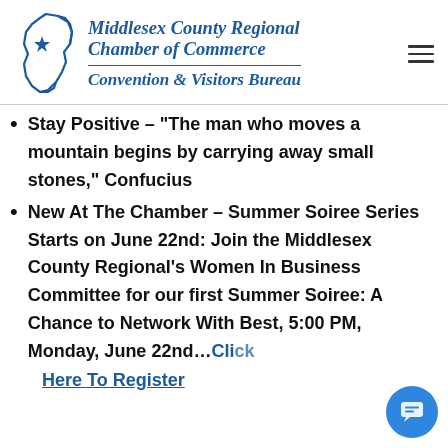[Figure (logo): Middlesex County Regional Chamber of Commerce Convention & Visitors Bureau logo with NJ state map outline and star]
Stay Positive – "The man who moves a mountain begins by carrying away small stones," Confucius
New At The Chamber – Summer Soiree Series Starts on June 22nd: Join the Middlesex County Regional's Women In Business Committee for our first Summer Soiree: A Chance to Network With Best, 5:00 PM, Monday, June 22nd… Click Here To Register